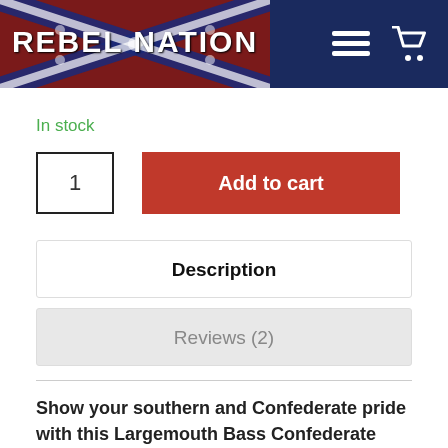[Figure (screenshot): Rebel Nation website header with logo showing Confederate flag imagery and the text REBEL NATION, plus a hamburger menu icon and shopping cart icon on a dark navy background]
In stock
1
Add to cart
Description
Reviews (2)
Show your southern and Confederate pride with this Largemouth Bass Confederate Belt Buckle showing the Confederate flag and a big ole